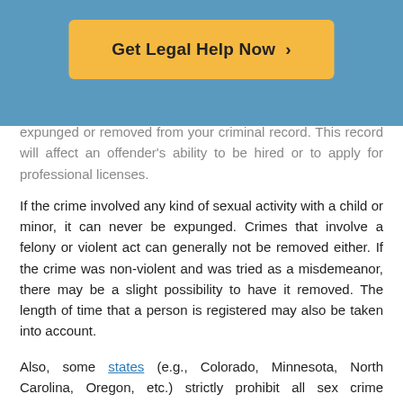[Figure (other): Orange 'Get Legal Help Now >' button on blue background header]
expunged or removed from your criminal record. This record will affect an offender's ability to be hired or to apply for professional licenses.
If the crime involved any kind of sexual activity with a child or minor, it can never be expunged. Crimes that involve a felony or violent act can generally not be removed either. If the crime was non-violent and was tried as a misdemeanor, there may be a slight possibility to have it removed. The length of time that a person is registered may also be taken into account.
Also, some states (e.g., Colorado, Minnesota, North Carolina, Oregon, etc.) strictly prohibit all sex crime convictions from being eligible for expungement.
Do Not...do...to Get Off the S...